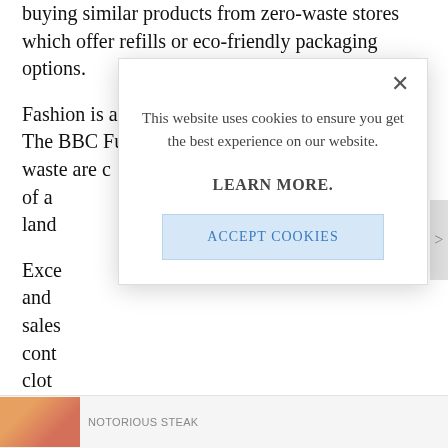buying similar products from zero-waste stores which offer refills or eco-friendly packaging options.
Fashion is another incredibly wasteful industry. The BBC Future estimates that 92 tons of textile waste are c... of a... land...
Exce... and... sales... cont... clot... fabr...
[Figure (screenshot): Cookie consent modal overlay with message 'This website uses cookies to ensure you get the best experience on our website.' with a LEARN MORE. link and ACCEPT COOKIES button, plus a close X button.]